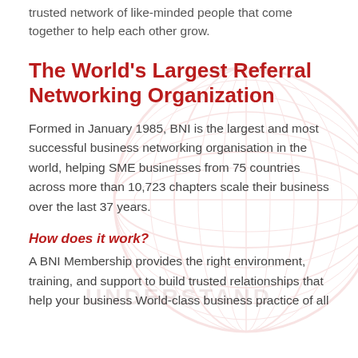trusted network of like-minded people that come together to help each other grow.
The World's Largest Referral Networking Organization
Formed in January 1985, BNI is the largest and most successful business networking organisation in the world, helping SME businesses from 75 countries across more than 10,723 chapters scale their business over the last 37 years.
How does it work?
A BNI Membership provides the right environment, training, and support to build trusted relationships that help your business World-class business practice of all